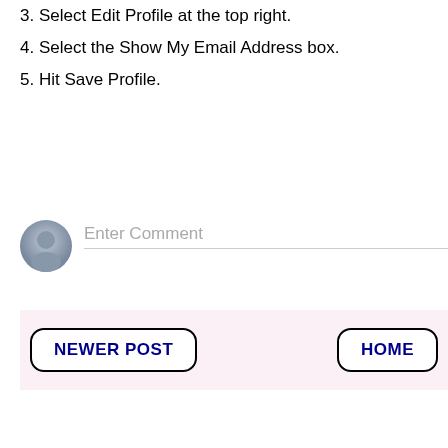3. Select Edit Profile at the top right.
4. Select the Show My Email Address box.
5. Hit Save Profile.
[Figure (screenshot): Comment input area with avatar and 'Enter Comment' placeholder text]
[Figure (screenshot): Navigation bar with 'NEWER POST' and 'HOME' buttons on pink background]